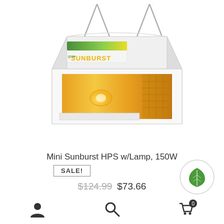[Figure (photo): Mini Sunburst HPS grow light with lamp hanging unit, white reflector hood with gold interior, hanging from two metal hooks, showing the Sunburst brand logo in green/yellow on side]
Mini Sunburst HPS w/Lamp, 150W
SALE!
$124.99  $73.66
[Figure (logo): Green circular eco/leaf badge logo]
[Figure (infographic): Bottom navigation bar with person/account icon, search magnifier icon, and shopping cart icon with badge showing 0]